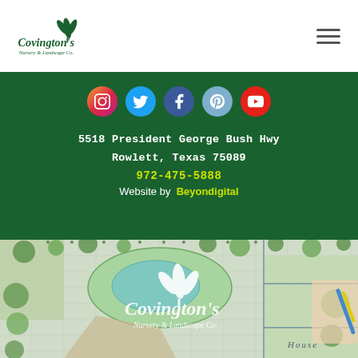[Figure (logo): Covington's Nursery & Landscape Co. logo with green leaf icon and cursive text]
[Figure (illustration): Hamburger menu icon (three horizontal lines)]
[Figure (infographic): Five social media icons in colored circles: Instagram (gradient), Twitter (cyan), Facebook (dark blue), Pinterest (light blue), YouTube (red)]
5518 President George Bush Hwy
Rowlett, Texas 75089
972-475-5888
Website by  Beyondigital
[Figure (photo): Landscape architectural drawing/plan with hand holding a pen, overlaid with Covington's Nursery & Landscape Co. white watermark logo]